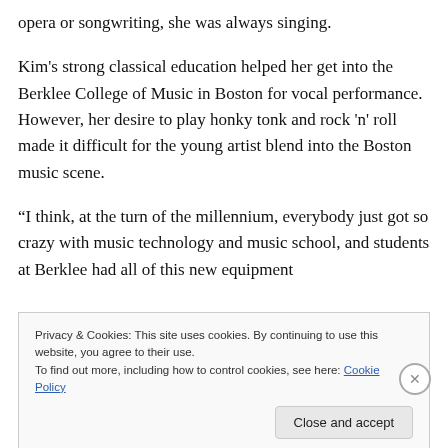opera or songwriting, she was always singing.
Kim's strong classical education helped her get into the Berklee College of Music in Boston for vocal performance. However, her desire to play honky tonk and rock 'n' roll made it difficult for the young artist blend into the Boston music scene.
“I think, at the turn of the millennium, everybody just got so crazy with music technology and music school, and students at Berklee had all of this new equipment
Privacy & Cookies: This site uses cookies. By continuing to use this website, you agree to their use.
To find out more, including how to control cookies, see here: Cookie Policy
Close and accept